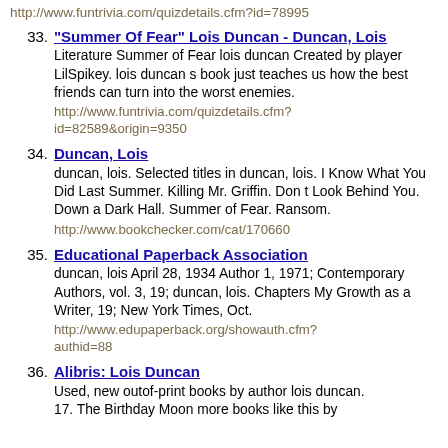http://www.funtrivia.com/quizdetails.cfm?id=78995
33. "Summer Of Fear" Lois Duncan - Duncan, Lois
Literature Summer of Fear lois duncan Created by player LilSpikey. lois duncan s book just teaches us how the best friends can turn into the worst enemies.
http://www.funtrivia.com/quizdetails.cfm?id=82589&origin=9350
34. Duncan, Lois
duncan, lois. Selected titles in duncan, lois. I Know What You Did Last Summer. Killing Mr. Griffin. Don t Look Behind You. Down a Dark Hall. Summer of Fear. Ransom.
http://www.bookchecker.com/cat/170660
35. Educational Paperback Association
duncan, lois April 28, 1934 Author 1, 1971; Contemporary Authors, vol. 3, 19; duncan, lois. Chapters My Growth as a Writer, 19; New York Times, Oct.
http://www.edupaperback.org/showauth.cfm?authid=88
36. Alibris: Lois Duncan
Used, new outof-print books by author lois duncan. 17. The Birthday Moon more books like this by